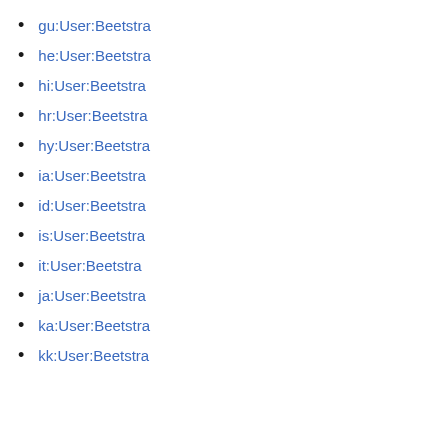gu:User:Beetstra
he:User:Beetstra
hi:User:Beetstra
hr:User:Beetstra
hy:User:Beetstra
ia:User:Beetstra
id:User:Beetstra
is:User:Beetstra
it:User:Beetstra
ja:User:Beetstra
ka:User:Beetstra
kk:User:Beetstra